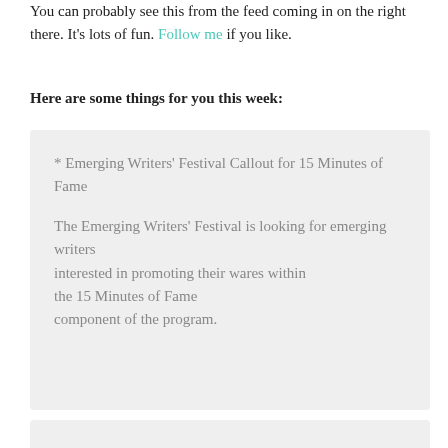You can probably see this from the feed coming in on the right there. It's lots of fun. Follow me if you like.
Here are some things for you this week:
* Emerging Writers' Festival Callout for 15 Minutes of Fame
The Emerging Writers' Festival is looking for emerging writers interested in promoting their wares within the 15 Minutes of Fame component of the program.